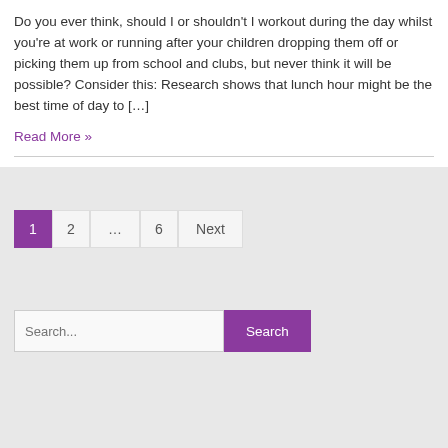Do you ever think, should I or shouldn't I workout during the day whilst you're at work or running after your children dropping them off or picking them up from school and clubs, but never think it will be possible?  Consider this: Research shows that lunch hour might be the best time of day to […]
Read More »
1  2  …  6  Next
Search...